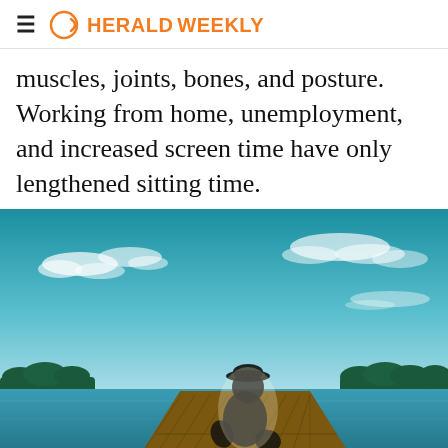HERALDWEEKLY
muscles, joints, bones, and posture. Working from home, unemployment, and increased screen time have only lengthened sitting time.
[Figure (photo): A person wearing a hat sitting on a wooden dock, viewed from behind, looking out over a calm lake with a bright sky and clouds.]